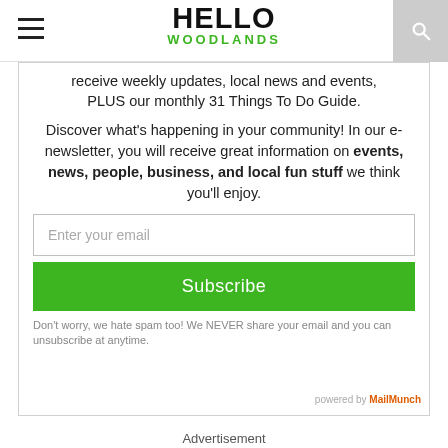Hello Woodlands
receive weekly updates, local news and events, PLUS our monthly 31 Things To Do Guide.
Discover what's happening in your community! In our e-newsletter, you will receive great information on events, news, people, business, and local fun stuff we think you'll enjoy.
Enter your email
Subscribe
Don't worry, we hate spam too! We NEVER share your email and you can unsubscribe at anytime.
powered by MailMunch
Advertisement